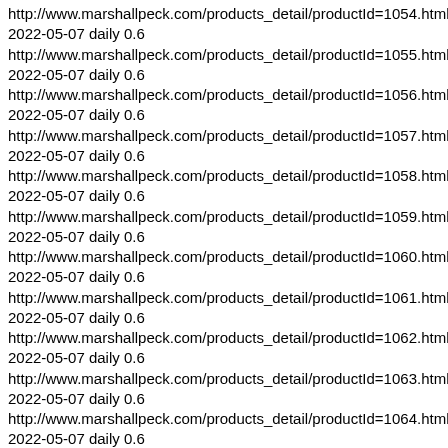http://www.marshallpeck.com/products_detail/productId=1054.html
2022-05-07 daily 0.6
http://www.marshallpeck.com/products_detail/productId=1055.html
2022-05-07 daily 0.6
http://www.marshallpeck.com/products_detail/productId=1056.html
2022-05-07 daily 0.6
http://www.marshallpeck.com/products_detail/productId=1057.html
2022-05-07 daily 0.6
http://www.marshallpeck.com/products_detail/productId=1058.html
2022-05-07 daily 0.6
http://www.marshallpeck.com/products_detail/productId=1059.html
2022-05-07 daily 0.6
http://www.marshallpeck.com/products_detail/productId=1060.html
2022-05-07 daily 0.6
http://www.marshallpeck.com/products_detail/productId=1061.html
2022-05-07 daily 0.6
http://www.marshallpeck.com/products_detail/productId=1062.html
2022-05-07 daily 0.6
http://www.marshallpeck.com/products_detail/productId=1063.html
2022-05-07 daily 0.6
http://www.marshallpeck.com/products_detail/productId=1064.html
2022-05-07 daily 0.6
http://www.marshallpeck.com/products_detail/productId=1065.html
2022-05-07 daily 0.6
http://www.marshallpeck.com/products_detail/productId=1066.html